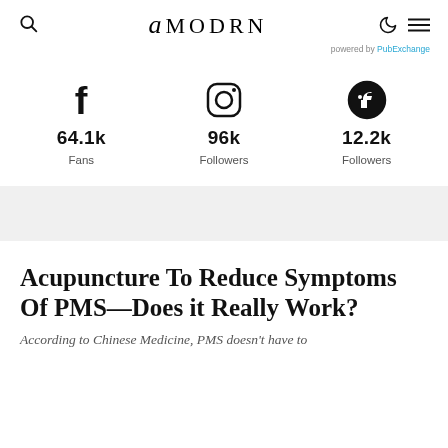amodrn
powered by PubExchange
64.1k Fans
96k Followers
12.2k Followers
Acupuncture To Reduce Symptoms Of PMS—Does it Really Work?
According to Chinese Medicine, PMS doesn't have to